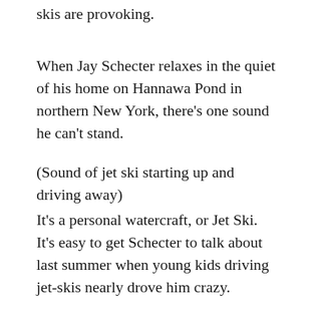skis are provoking.
When Jay Schecter relaxes in the quiet of his home on Hannawa Pond in northern New York, there’s one sound he can’t stand.
(Sound of jet ski starting up and driving away)
It’s a personal watercraft, or Jet Ski. It’s easy to get Schecter to talk about last summer when young kids driving jet-skis nearly drove him crazy.